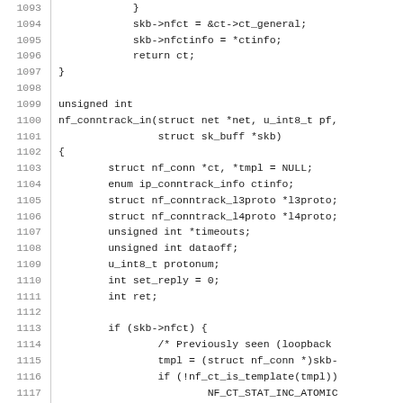Source code listing lines 1093-1122, showing C kernel netfilter connection tracking code including function nf_conntrack_in and related struct declarations and logic.